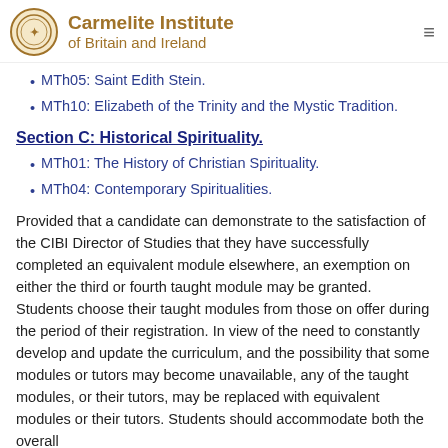Carmelite Institute of Britain and Ireland
MTh05: Saint Edith Stein.
MTh10: Elizabeth of the Trinity and the Mystic Tradition.
Section C: Historical Spirituality.
MTh01: The History of Christian Spirituality.
MTh04: Contemporary Spiritualities.
Provided that a candidate can demonstrate to the satisfaction of the CIBI Director of Studies that they have successfully completed an equivalent module elsewhere, an exemption on either the third or fourth taught module may be granted. Students choose their taught modules from those on offer during the period of their registration. In view of the need to constantly develop and update the curriculum, and the possibility that some modules or tutors may become unavailable, any of the taught modules, or their tutors, may be replaced with equivalent modules or tutors. Students should accommodate both the overall